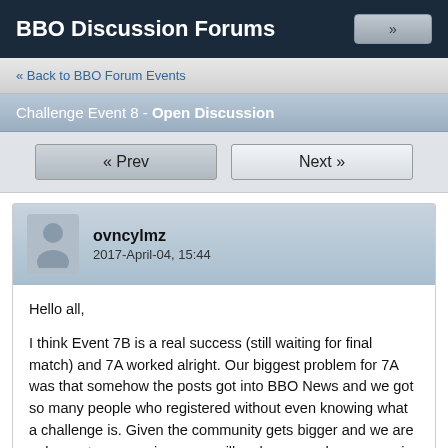BBO Discussion Forums
« Back to BBO Forum Events
Challenge Event 8 - Open Discussion
« Prev   Next »
ovncylmz
2017-April-04, 15:44
Hello all,

I think Event 7B is a real success (still waiting for final match) and 7A worked alright. Our biggest problem for 7A was that somehow the posts got into BBO News and we got so many people who registered without even knowing what a challenge is. Given the community gets bigger and we are only amateur organizers, we will make some changes again:

Event 8 will be a single-tournament. The format will be similar to Event 7B (RR then KO). However, we will open it up to all players